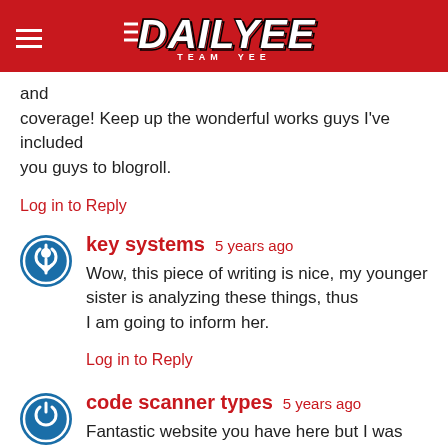DAILYEE TEAM YEE
and coverage! Keep up the wonderful works guys I've included you guys to blogroll.
Log in to Reply
key systems  5 years ago
Wow, this piece of writing is nice, my younger sister is analyzing these things, thus I am going to inform her.
Log in to Reply
code scanner types  5 years ago
Fantastic website you have here but I was curious if you knew of any discussion boards that